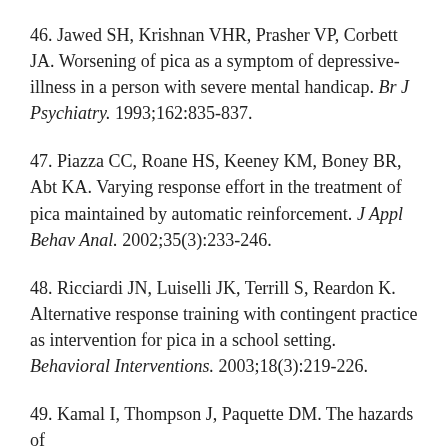46. Jawed SH, Krishnan VHR, Prasher VP, Corbett JA. Worsening of pica as a symptom of depressive-illness in a person with severe mental handicap. Br J Psychiatry. 1993;162:835-837.
47. Piazza CC, Roane HS, Keeney KM, Boney BR, Abt KA. Varying response effort in the treatment of pica maintained by automatic reinforcement. J Appl Behav Anal. 2002;35(3):233-246.
48. Ricciardi JN, Luiselli JK, Terrill S, Reardon K. Alternative response training with contingent practice as intervention for pica in a school setting. Behavioral Interventions. 2003;18(3):219-226.
49. Kamal I, Thompson J, Paquette DM. The hazards of